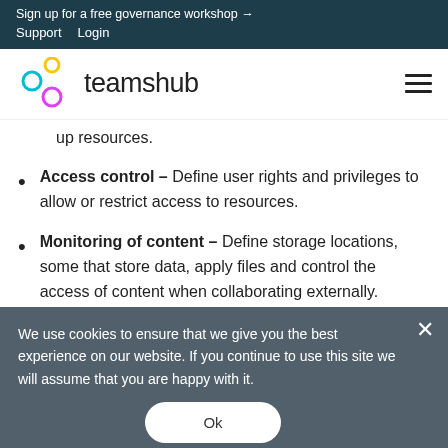Sign up for a free governance workshop →
Support   Login
[Figure (logo): teamshub logo with colored circles (yellow, cyan, magenta) and text 'teamshub']
up resources.
Access control – Define user rights and privileges to allow or restrict access to resources.
Monitoring of content – Define storage locations, some that store data, apply files and control the access of content when collaborating externally.
We use cookies to ensure that we give you the best experience on our website. If you continue to use this site we will assume that you are happy with it.
Scaling Microsoft 365